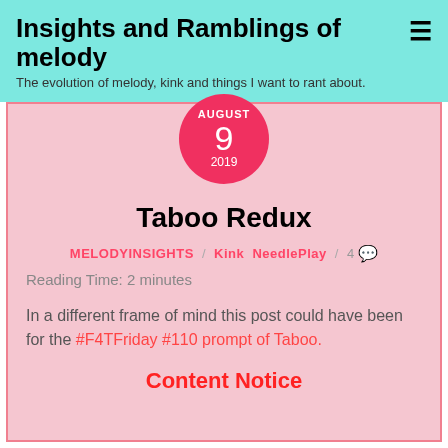Insights and Ramblings of melody — The evolution of melody, kink and things I want to rant about.
AUGUST 9 2019
Taboo Redux
MELODYINSIGHTS / Kink NeedlePlay / 4
Reading Time: 2 minutes
In a different frame of mind this post could have been for the #F4TFriday #110 prompt of Taboo.
Content Notice